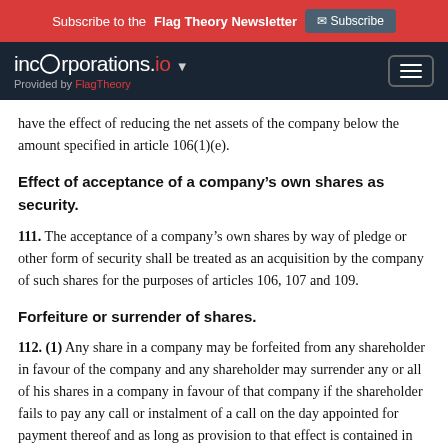Subscribe to the Flag Theory Newsletter  Subscribe
incorporations.io  Provided by FlagTheory
have the effect of reducing the net assets of the company below the amount specified in article 106(1)(e).
Effect of acceptance of a company’s own shares as security.
111. The acceptance of a company’s own shares by way of pledge or other form of security shall be treated as an acquisition by the company of such shares for the purposes of articles 106, 107 and 109.
Forfeiture or surrender of shares.
112. (1) Any share in a company may be forfeited from any shareholder in favour of the company and any shareholder may surrender any or all of his shares in a company in favour of that company if the shareholder fails to pay any call or instalment of a call on the day appointed for payment thereof and as long as provision to that effect is contained in the memorandum or articles of the company.